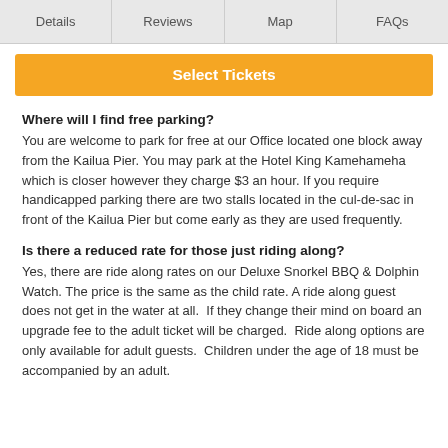Details | Reviews | Map | FAQs
Select Tickets
Where will I find free parking?
You are welcome to park for free at our Office located one block away from the Kailua Pier. You may park at the Hotel King Kamehameha which is closer however they charge $3 an hour. If you require handicapped parking there are two stalls located in the cul-de-sac in front of the Kailua Pier but come early as they are used frequently.
Is there a reduced rate for those just riding along?
Yes, there are ride along rates on our Deluxe Snorkel BBQ & Dolphin Watch. The price is the same as the child rate. A ride along guest does not get in the water at all.  If they change their mind on board an upgrade fee to the adult ticket will be charged.  Ride along options are only available for adult guests.  Children under the age of 18 must be accompanied by an adult.